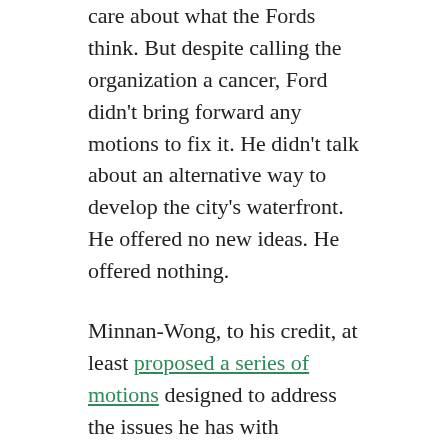care about what the Fords think. But despite calling the organization a cancer, Ford didn't bring forward any motions to fix it. He didn't talk about an alternative way to develop the city's waterfront. He offered no new ideas. He offered nothing.
Minnan-Wong, to his credit, at least proposed a series of motions designed to address the issues he has with Waterfront Toronto. Ford didn't. The mayor's only substantive contribution to the debate — aside from twisted facts and bluster — was a request that he be recorded as voting against going forward with a strategic review of waterfront development